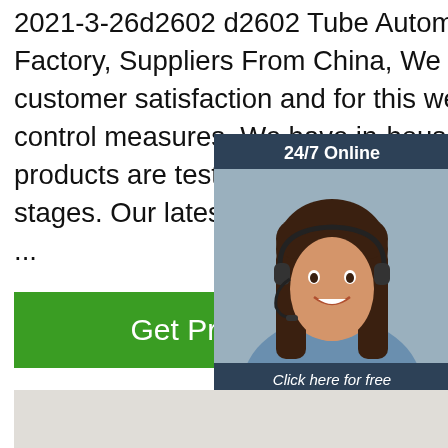2021-3-26d2602 d2602 Tube Automatic Welding Manufacturers, Factory, Suppliers From China, We give priority to quality and customer satisfaction and for this we follow stringent quality control measures. We have in-house testing facilities where our products are tested on every aspect at different processing stages. Our latest technologies, we facilitate our customers with ...
[Figure (photo): Customer service agent (woman with headset) in a 24/7 online chat widget with dark blue background, 'Click here for free chat!' text, and orange QUOTATION button]
[Figure (photo): Interior of a large hall or factory/warehouse room with windows, pink curtains, and architectural features]